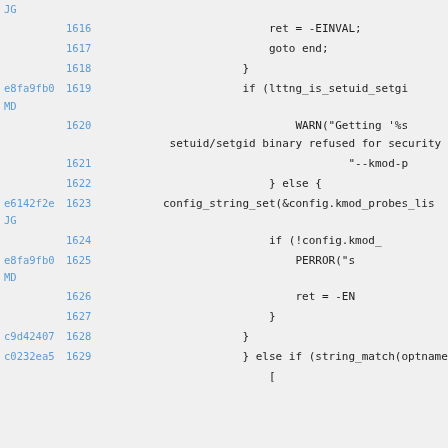Source code view with git blame annotations, lines 1616-1629
| commit | line | code |
| --- | --- | --- |
| JG |  |  |
|  | 1616 | ret = -EINVAL; |
|  | 1617 | goto end; |
|  | 1618 | } |
| e8fa9fb0 MD | 1619 | if (lttng_is_setuid_setgi |
|  | 1620 | WARN("Getting '%s setuid/setgid binary refused for security |
|  | 1621 | "--kmod-p |
|  | 1622 | } else { |
| e6142f2e JG | 1623 | config_string_set(&config.kmod_probes_lis |
|  | 1624 | if (!config.kmod_ |
| e8fa9fb0 MD | 1625 | PERROR("s |
|  | 1626 | ret = -EN |
|  | 1627 | } |
| c9d42407 | 1628 | } |
| c0232ea5 | 1629 | } else if (string_match(optname, |